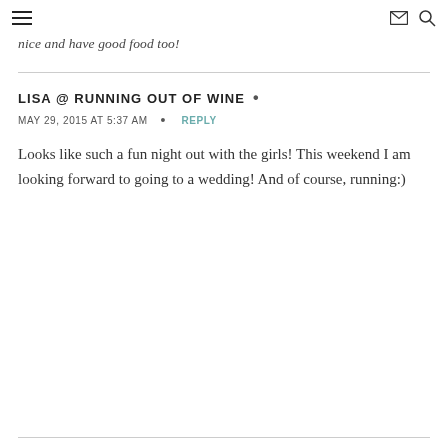≡  ✉ 🔍
nice and have good food too!
LISA @ RUNNING OUT OF WINE  •
MAY 29, 2015 AT 5:37 AM  •  REPLY
Looks like such a fun night out with the girls! This weekend I am looking forward to going to a wedding! And of course, running:)